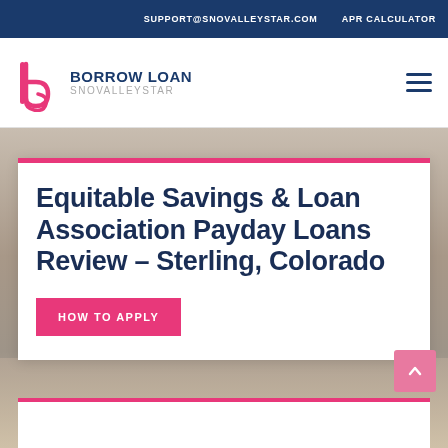SUPPORT@SNOVALLEYSTAR.COM   APR CALCULATOR
[Figure (logo): Borrow Loan SnoValleyStar logo with stylized 'b' letter mark in pink/magenta and dark blue text]
Equitable Savings & Loan Association Payday Loans Review - Sterling, Colorado
HOW TO APPLY